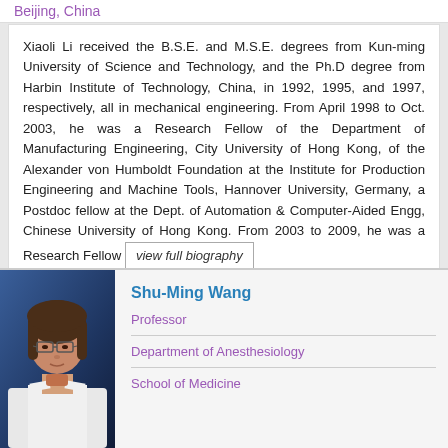Beijing, China
Xiaoli Li received the B.S.E. and M.S.E. degrees from Kun-ming University of Science and Technology, and the Ph.D degree from Harbin Institute of Technology, China, in 1992, 1995, and 1997, respectively, all in mechanical engineering. From April 1998 to Oct. 2003, he was a Research Fellow of the Department of Manufacturing Engineering, City University of Hong Kong, of the Alexander von Humboldt Foundation at the Institute for Production Engineering and Machine Tools, Hannover University, Germany, a Postdoc fellow at the Dept. of Automation & Computer-Aided Engg, Chinese University of Hong Kong. From 2003 to 2009, he was a Research Fellow view full biography
[Figure (photo): Professional headshot of Shu-Ming Wang, a woman with short brown hair wearing glasses and a white coat, photographed against a dark blue background.]
Shu-Ming Wang
Professor
Department of Anesthesiology
School of Medicine